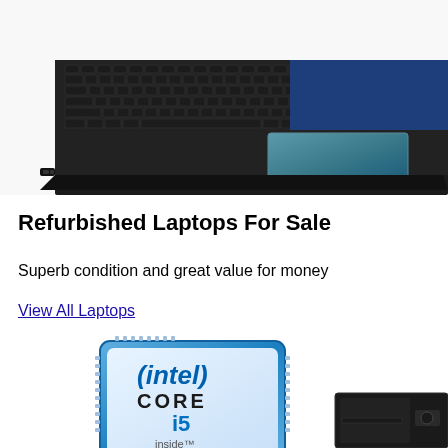[Figure (photo): Partial top-down view of a black laptop showing keyboard and touchpad area with blue-tinted screen visible]
Refurbished Laptops For Sale
Superb condition and great value for money
View All Laptops
[Figure (logo): Intel Core i5 inside processor badge/logo - square blue metallic chip badge]
[Figure (photo): Partial view of a dark/black desktop computer or mini PC]